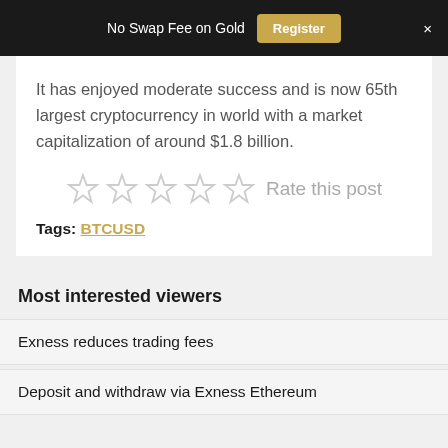No Swap Fee on Gold  Register  ×
It has enjoyed moderate success and is now 65th largest cryptocurrency in world with a market capitalization of around $1.8 billion.
Rate this post
Tags: BTCUSD
Most interested viewers
Exness reduces trading fees
Deposit and withdraw via Exness Ethereum